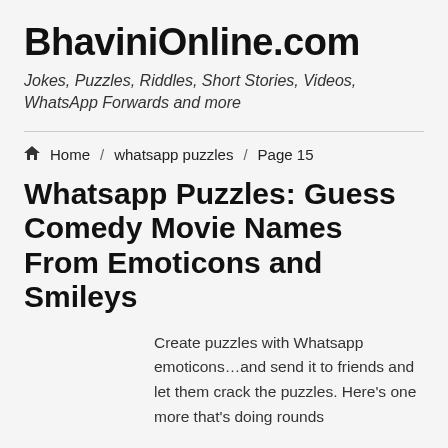BhaviniOnline.com
Jokes, Puzzles, Riddles, Short Stories, Videos, WhatsApp Forwards and more
Home / whatsapp puzzles / Page 15
Whatsapp Puzzles: Guess Comedy Movie Names From Emoticons and Smileys
Create puzzles with Whatsapp emoticons…and send it to friends and let them crack the puzzles. Here's one more that's doing rounds